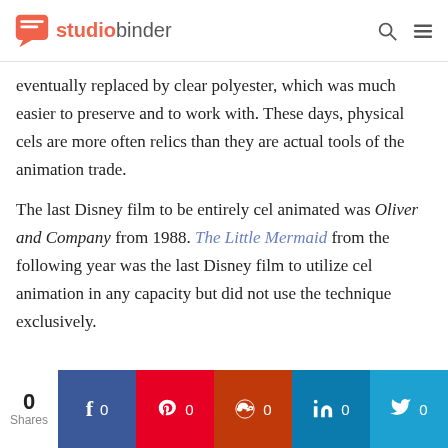studiobinder
eventually replaced by clear polyester, which was much easier to preserve and to work with. These days, physical cels are more often relics than they are actual tools of the animation trade.
The last Disney film to be entirely cel animated was Oliver and Company from 1988. The Little Mermaid from the following year was the last Disney film to utilize cel animation in any capacity but did not use the technique exclusively.
0 Shares | Facebook 0 | Pinterest 0 | Reddit 0 | LinkedIn 0 | Twitter 0